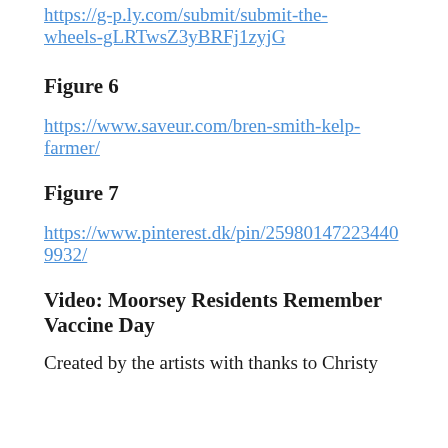https://g-p.ly.com/submit/submit-the-wheels-gLRTwsZ3yBRFj1zyjG
Figure 6
https://www.saveur.com/bren-smith-kelp-farmer/
Figure 7
https://www.pinterest.dk/pin/259801472234409932/
Video: Moorsey Residents Remember Vaccine Day
Created by the artists with thanks to Christy